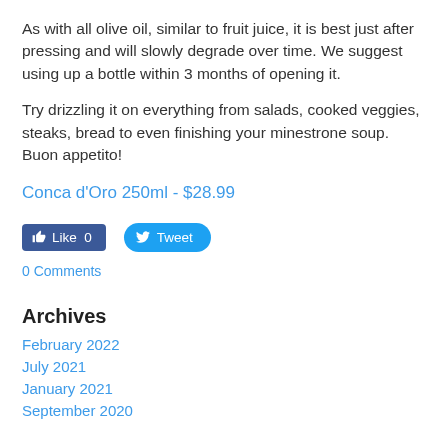As with all olive oil, similar to fruit juice, it is best just after pressing and will slowly degrade over time. We suggest using up a bottle within 3 months of opening it.
Try drizzling it on everything from salads, cooked veggies, steaks, bread to even finishing your minestrone soup. Buon appetito!
Conca d'Oro 250ml - $28.99
[Figure (other): Facebook Like button showing count 0 and Twitter Tweet button]
0 Comments
Archives
February 2022
July 2021
January 2021
September 2020